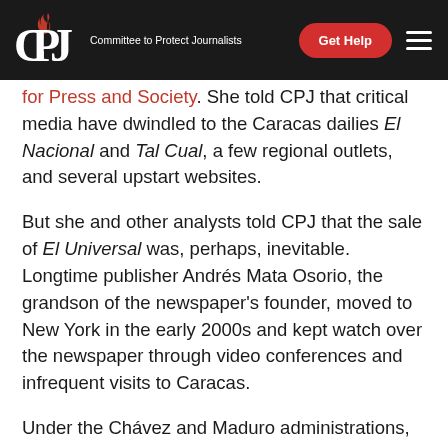CPJ — Committee to Protect Journalists
for Press and Society. She told CPJ that critical media have dwindled to the Caracas dailies El Nacional and Tal Cual, a few regional outlets, and several upstart websites.
But she and other analysts told CPJ that the sale of El Universal was, perhaps, inevitable. Longtime publisher Andrés Mata Osorio, the grandson of the newspaper's founder, moved to New York in the early 2000s and kept watch over the newspaper through video conferences and infrequent visits to Caracas.
Under the Chávez and Maduro administrations, El